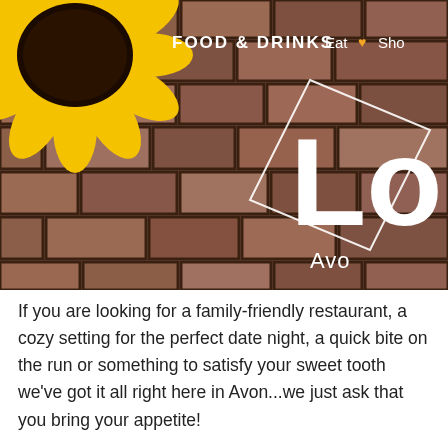[Figure (photo): A cropped photo showing a brick wall background with a sunflower in the upper-left corner. Overlaid text reads 'FOOD & DRINKS', 'Eat', a heart icon, 'Sho', a large 'Lo' in white, and 'Avo' partially visible. A white diamond/square outline is visible in the center-right area.]
If you are looking for a family-friendly restaurant, a cozy setting for the perfect date night, a quick bite on the run or something to satisfy your sweet tooth we've got it all right here in Avon...we just ask that you bring your appetite!